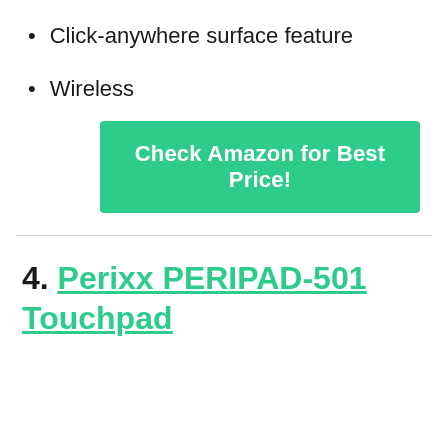Click-anywhere surface feature
Wireless
Check Amazon for Best Price!
4. Perixx PERIPAD-501 Touchpad